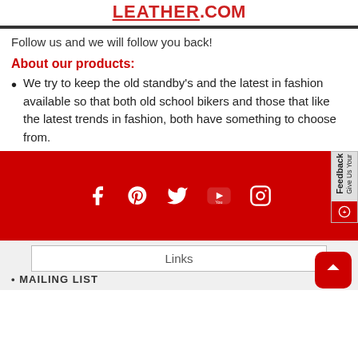LEATHER.COM
Follow us and we will follow you back!
About our products:
We try to keep the old standby's and the latest in fashion available so that both old school bikers and those that like the latest trends in fashion, both have something to choose from.
[Figure (infographic): Red footer bar with social media icons: Facebook, Pinterest, Twitter, YouTube, Instagram]
Links
MAILING LIST